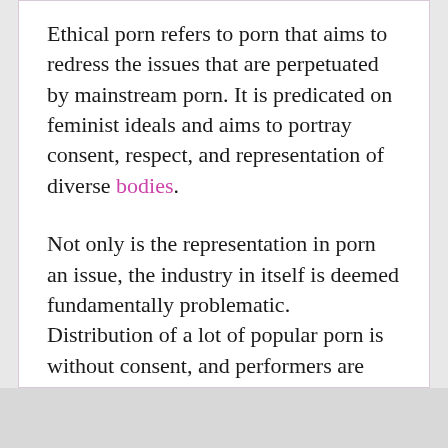Ethical porn refers to porn that aims to redress the issues that are perpetuated by mainstream porn. It is predicated on feminist ideals and aims to portray consent, respect, and representation of diverse bodies.
Not only is the representation in porn an issue, the industry in itself is deemed fundamentally problematic.  Distribution of a lot of popular porn is without consent, and performers are often not reimbursed or poorly paid.